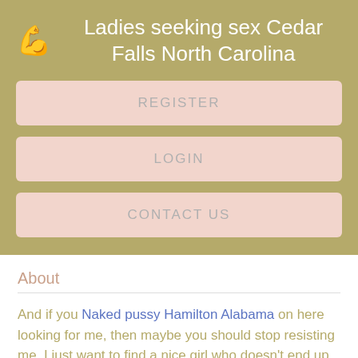Ladies seeking sex Cedar Falls North Carolina
REGISTER
LOGIN
CONTACT US
About
And if you Naked pussy Hamilton Alabama on here looking for me, then maybe you should stop resisting me. I just want to find a nice girl who doesn't end up being a complete psycho.